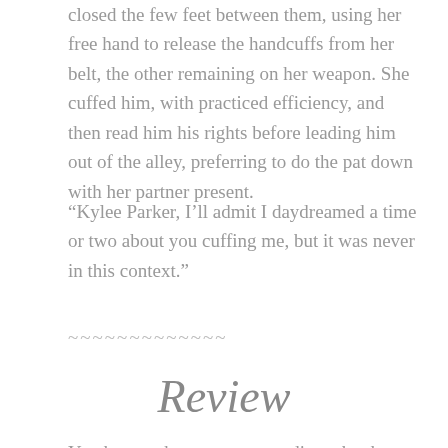closed the few feet between them, using her free hand to release the handcuffs from her belt, the other remaining on her weapon. She cuffed him, with practiced efficiency, and then read him his rights before leading him out of the alley, preferring to do the pat down with her partner present.
“Kylee Parker, I’ll admit I daydreamed a time or two about you cuffing me, but it was never in this context.”
~~~~~~~~~~~~~
Review
You know when you start reading a book with an opening like that, you keep thinking that the book would be sparky? This book is NOT sparky. It’s an emotional